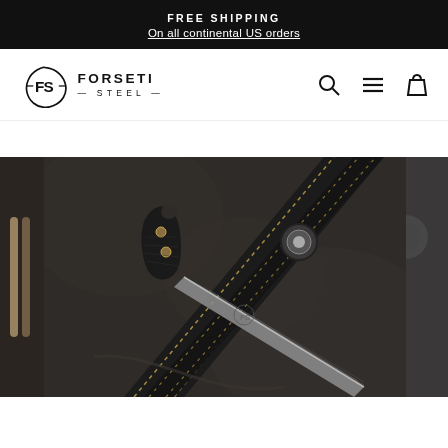FREE SHIPPING
On all continental US orders
[Figure (logo): Forseti Steel logo with stylized FS monogram and text FORSETI STEEL]
[Figure (photo): A fixed blade Damascus steel knife with black G10 handle resting on a black leather sheath with gold stitching, on a dark leather background]
[Figure (photo): Partial view of another knife product on dark background, left edge only visible]
[Figure (photo): Partial view of another knife product on dark background, right edge only visible]